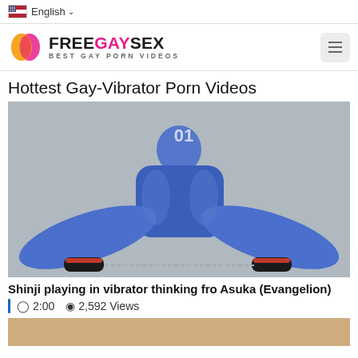English
[Figure (logo): FreeGaySex logo with icon — BEST GAY PORN VIDEOS]
Hottest Gay-Vibrator Porn Videos
[Figure (photo): Person in blue spandex suit with restraints on a bed]
Shinji playing in vibrator thinking fro Asuka (Evangelion)
2:00  2,592 Views
[Figure (photo): Partial view of another video thumbnail at the bottom]